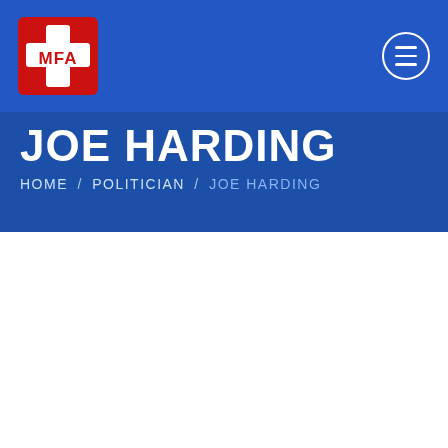[Figure (logo): MFA logo: red cross with white MFA text on blue background]
JOE HARDING
HOME / POLITICIAN / JOE HARDING
Back to Politician by State
State
[Figure (photo): Headshot of Joe Harding, smiling man in blue suit, American flag in background]